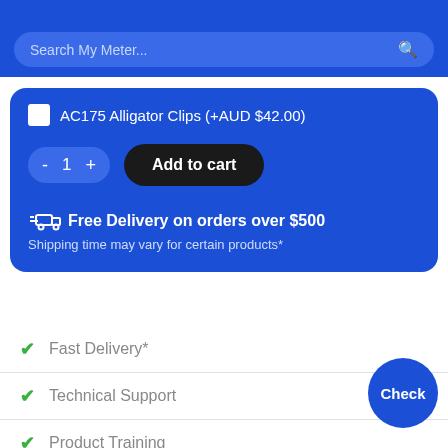Search My Meter...
AC175 Alligator Clips (+AUD $42.00)
Add to cart
Free Delivery on orders over $500
Shipping time may vary for certain products*
Fast Delivery*
Technical Support
Product Training
Calibration Services*